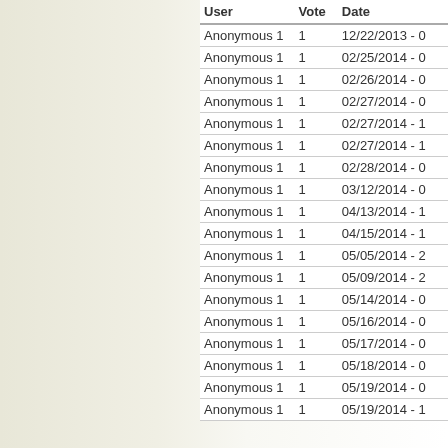| User | Vote | Date |
| --- | --- | --- |
| Anonymous 1 | 1 | 12/22/2013 - 0 |
| Anonymous 1 | 1 | 02/25/2014 - 0 |
| Anonymous 1 | 1 | 02/26/2014 - 0 |
| Anonymous 1 | 1 | 02/27/2014 - 0 |
| Anonymous 1 | 1 | 02/27/2014 - 1 |
| Anonymous 1 | 1 | 02/27/2014 - 1 |
| Anonymous 1 | 1 | 02/28/2014 - 0 |
| Anonymous 1 | 1 | 03/12/2014 - 0 |
| Anonymous 1 | 1 | 04/13/2014 - 1 |
| Anonymous 1 | 1 | 04/15/2014 - 1 |
| Anonymous 1 | 1 | 05/05/2014 - 2 |
| Anonymous 1 | 1 | 05/09/2014 - 2 |
| Anonymous 1 | 1 | 05/14/2014 - 0 |
| Anonymous 1 | 1 | 05/16/2014 - 0 |
| Anonymous 1 | 1 | 05/17/2014 - 0 |
| Anonymous 1 | 1 | 05/18/2014 - 0 |
| Anonymous 1 | 1 | 05/19/2014 - 0 |
| Anonymous 1 | 1 | 05/19/2014 - 1 |